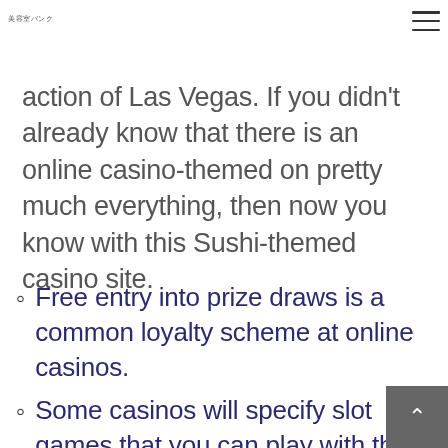美容室バンク
action of Las Vegas. If you didn't already know that there is an online casino-themed on pretty much everything, then now you know with this Sushi-themed casino site.
Free entry into prize draws is a common loyalty scheme at online casinos.
Some casinos will specify slot games that you can play with this bonus.
If you can find …